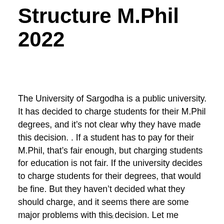Structure M.Phil 2022
The University of Sargodha is a public university. It has decided to charge students for their M.Phil degrees, and it’s not clear why they have made this decision. . If a student has to pay for their M.Phil, that’s fair enough, but charging students for education is not fair. If the university decides to charge students for their degrees, that would be fine. But they haven’t decided what they should charge, and it seems there are some major problems with this decision. Let me address them here: 1. A student at the
x